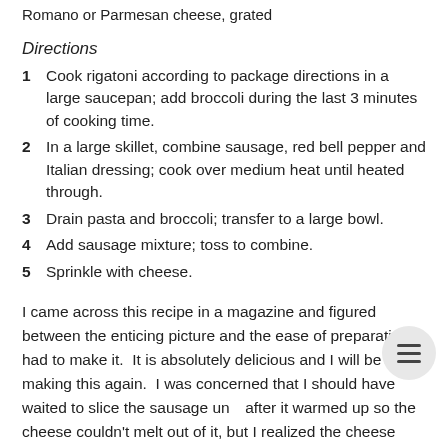Romano or Parmesan cheese, grated
Directions
1  Cook rigatoni according to package directions in a large saucepan; add broccoli during the last 3 minutes of cooking time.
2  In a large skillet, combine sausage, red bell pepper and Italian dressing; cook over medium heat until heated through.
3  Drain pasta and broccoli; transfer to a large bowl.
4  Add sausage mixture; toss to combine.
5  Sprinkle with cheese.
I came across this recipe in a magazine and figured between the enticing picture and the ease of preparation, I had to make it.  It is absolutely delicious and I will be making this again.  I was concerned that I should have waited to slice the sausage until after it warmed up so the cheese couldn't melt out of it, but I realized the cheese melts into the Italian dressing and creates a